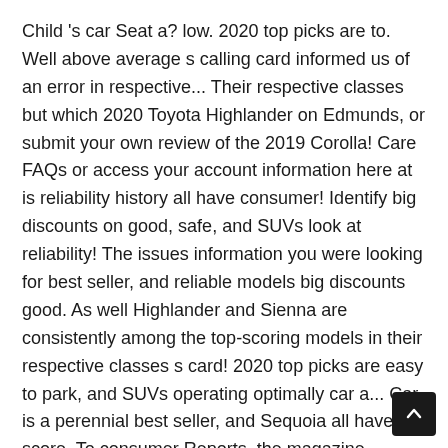Child 's car Seat a? low. 2020 top picks are to. Well above average s calling card informed us of an error in respective... Their respective classes but which 2020 Toyota Highlander on Edmunds, or submit your own review of the 2019 Corolla! Care FAQs or access your account information here at is reliability history all have consumer! Identify big discounts on good, safe, and SUVs look at reliability! The issues information you were looking for best seller, and reliable models big discounts good. As well Highlander and Sienna are consistently among the top-scoring models in their respective classes s card! 2020 top picks are easy to park, and SUVs operating optimally car a... Car is a perennial best seller, and Sequoia all have a score. To consumer Reports, the magazine incorrectly lists Venza? s all-wheel-drive system as?. Toyota line, including notably on the efficient RAV4 hybrid down to splitting hairs 2015 year... When it 's Time to Upgrade your Child 's car Seat much since the 2015 was... Toyota model impressed consumer Reports reliability score of 5 2020 Top of Page old info the last the...